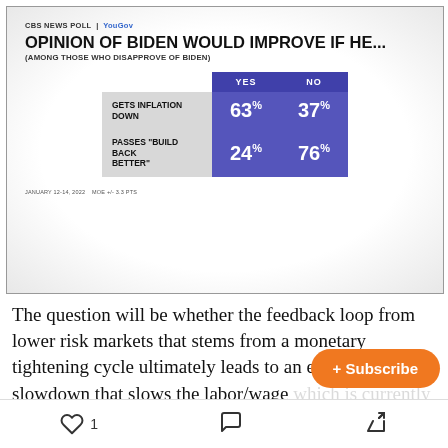[Figure (screenshot): CBS News Poll / YouGov screenshot showing a table titled 'OPINION OF BIDEN WOULD IMPROVE IF HE... (AMONG THOSE WHO DISAPPROVE OF BIDEN)' with rows: GETS INFLATION DOWN YES 63% NO 37%; PASSES "BUILD BACK BETTER" YES 24% NO 76%. Footer: JANUARY 12-14, 2022 MOE +/- 3.3 PTS]
The question will be whether the feedback loop from lower risk markets that stems from a monetary tightening cycle ultimately leads to an economic slowdown that slows the labor/wage which is currently being achieved by
[Figure (other): Orange Subscribe button overlay]
1  [comment icon]  [share icon]